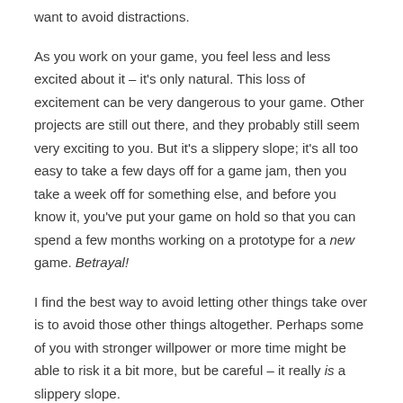want to avoid distractions.
As you work on your game, you feel less and less excited about it – it's only natural. This loss of excitement can be very dangerous to your game. Other projects are still out there, and they probably still seem very exciting to you. But it's a slippery slope; it's all too easy to take a few days off for a game jam, then you take a week off for something else, and before you know it, you've put your game on hold so that you can spend a few months working on a prototype for a new game. Betrayal!
I find the best way to avoid letting other things take over is to avoid those other things altogether. Perhaps some of you with stronger willpower or more time might be able to risk it a bit more, but be careful – it really is a slippery slope.
On the other hand, you don't want to take this too far. Getting burnt out is very easy to do, especially when you're spending a lot of time on a game. Sometimes I'll sit down at my computer with the intention